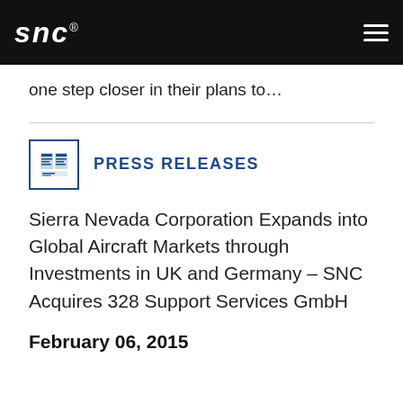SNC
one step closer in their plans to…
PRESS RELEASES
Sierra Nevada Corporation Expands into Global Aircraft Markets through Investments in UK and Germany – SNC Acquires 328 Support Services GmbH
February 06, 2015